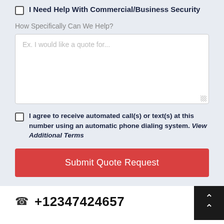I Need Help With Commercial/Business Security
How Specifically Can We Help?
Ex. I would like a quote for...
I agree to receive automated call(s) or text(s) at this number using an automatic phone dialing system. View Additional Terms
Submit Quote Request
+12347424657